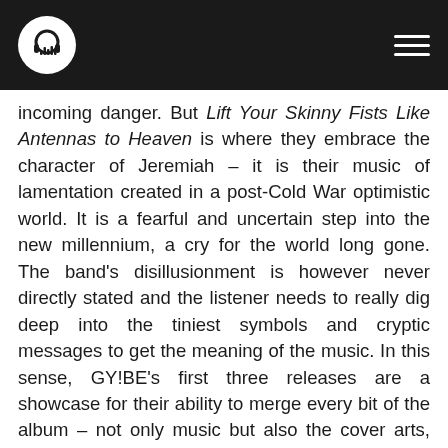Music review website header with logo and navigation
incoming danger. But Lift Your Skinny Fists Like Antennas to Heaven is where they embrace the character of Jeremiah – it is their music of lamentation created in a post-Cold War optimistic world. It is a fearful and uncertain step into the new millennium, a cry for the world long gone. The band's disillusionment is however never directly stated and the listener needs to really dig deep into the tiniest symbols and cryptic messages to get the meaning of the music. In this sense, GY!BE's first three releases are a showcase for their ability to merge every bit of the album – not only music but also the cover arts, inside sleeves and booklets as well as live performances – in order to create a single, meaningful and coherent narrative. But Godspeed You! Black Emperor never state anything explicitly and it takes a lot of overthinking – all they